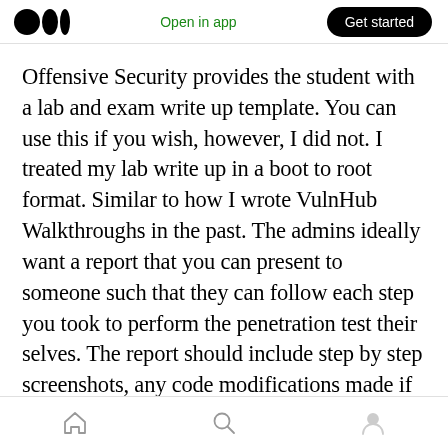Medium app header with logo, Open in app link, and Get started button
Offensive Security provides the student with a lab and exam write up template. You can use this if you wish, however, I did not. I treated my lab write up in a boot to root format. Similar to how I wrote VulnHub Walkthroughs in the past. The admins ideally want a report that you can present to someone such that they can follow each step you took to perform the penetration test their selves. The report should include step by step screenshots, any code modifications made if required, links to exploits, etc. If you wrote any custom exploits or code, this needed to
Home Search Profile navigation icons